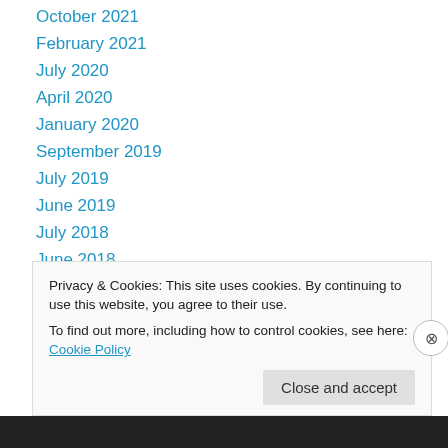October 2021
February 2021
July 2020
April 2020
January 2020
September 2019
July 2019
June 2019
July 2018
June 2018
February 2018
November 2017
September 2017
Privacy & Cookies: This site uses cookies. By continuing to use this website, you agree to their use.
To find out more, including how to control cookies, see here: Cookie Policy
Close and accept